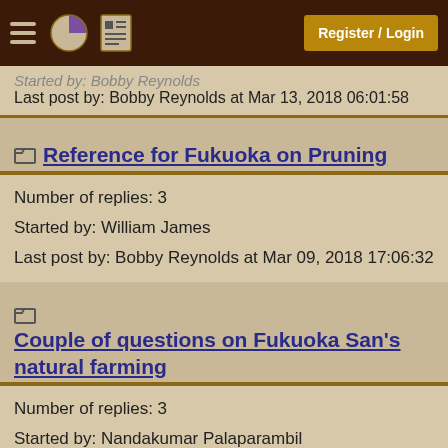Register / Login
Started by: Bobby Reynolds
Last post by: Bobby Reynolds at Mar 13, 2018 06:01:58
Reference for Fukuoka on Pruning
Number of replies: 3
Started by: William James
Last post by: Bobby Reynolds at Mar 09, 2018 17:06:32
Couple of questions on Fukuoka San's natural farming
Number of replies: 3
Started by: Nandakumar Palaparambil
Last post by: Bobby Reynolds at Mar 09, 2018 16:52:22